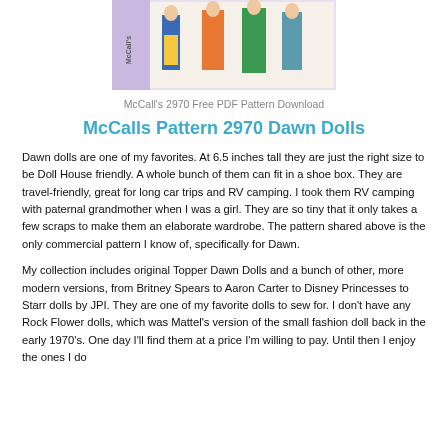[Figure (photo): McCall's 2970 sewing pattern cover showing Dawn dolls in various colorful outfits including blue, orange, and green dresses]
McCall's 2970 Free PDF Pattern Download
McCalls Pattern 2970 Dawn Dolls
Dawn dolls are one of my favorites. At 6.5 inches tall they are just the right size to be Doll House friendly. A whole bunch of them can fit in a shoe box. They are travel-friendly, great for long car trips and RV camping. I took them RV camping with paternal grandmother when I was a girl. They are so tiny that it only takes a few scraps to make them an elaborate wardrobe. The pattern shared above is the only commercial pattern I know of, specifically for Dawn.
My collection includes original Topper Dawn Dolls and a bunch of other, more modern versions, from Britney Spears to Aaron Carter to Disney Princesses to Starr dolls by JPI. They are one of my favorite dolls to sew for. I don't have any Rock Flower dolls, which was Mattel's version of the small fashion doll back in the early 1970's. One day I'll find them at a price I'm willing to pay. Until then I enjoy the ones I do